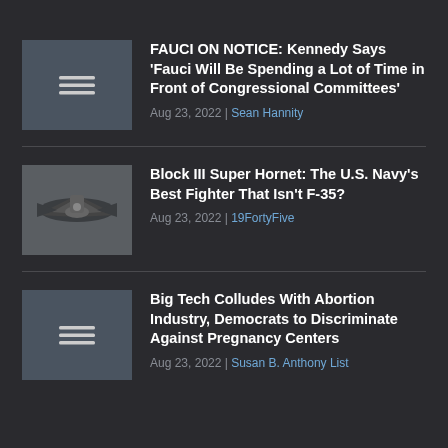FAUCI ON NOTICE: Kennedy Says 'Fauci Will Be Spending a Lot of Time in Front of Congressional Committees' — Aug 23, 2022 | Sean Hannity
Block III Super Hornet: The U.S. Navy's Best Fighter That Isn't F-35? — Aug 23, 2022 | 19FortyFive
Big Tech Colludes With Abortion Industry, Democrats to Discriminate Against Pregnancy Centers — Aug 23, 2022 | Susan B. Anthony List